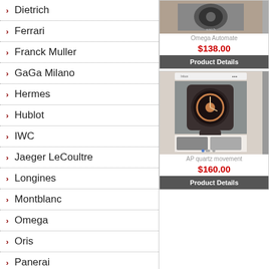Dietrich
Ferrari
Franck Muller
GaGa Milano
Hermes
Hublot
IWC
Jaeger LeCoultre
Longines
Montblanc
Omega
Oris
Panerai
Patek Philippe
Piaget
Rado
[Figure (photo): Omega Automate watch product image]
Omega Automate
$138.00
Product Details
[Figure (photo): AP quartz movement watch product image screenshot]
AP quartz movement
$160.00
Product Details